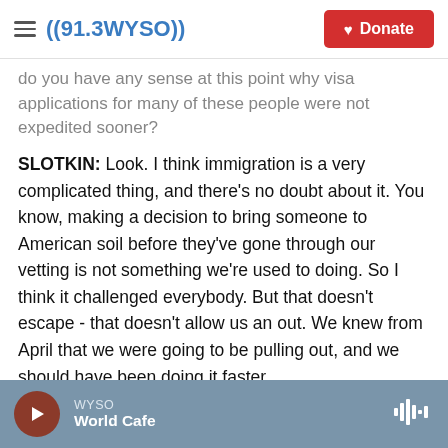((91.3WYSO)) — Donate
...do you have any sense at this point why visa applications for many of these people were not expedited sooner?
SLOTKIN: Look. I think immigration is a very complicated thing, and there's no doubt about it. You know, making a decision to bring someone to American soil before they've gone through our vetting is not something we're used to doing. So I think it challenged everybody. But that doesn't escape - that doesn't allow us an out. We knew from April that we were going to be pulling out, and we should have been doing it faster.
WYSO — World Cafe